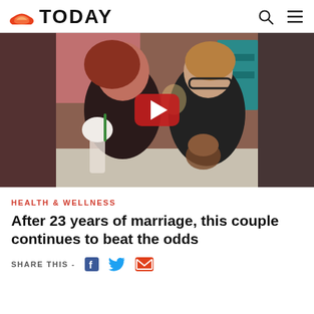TODAY
[Figure (photo): Two women smiling at a diner table with milkshakes and ice cream sundaes. A red video play button overlay is centered on the image.]
HEALTH & WELLNESS
After 23 years of marriage, this couple continues to beat the odds
SHARE THIS -